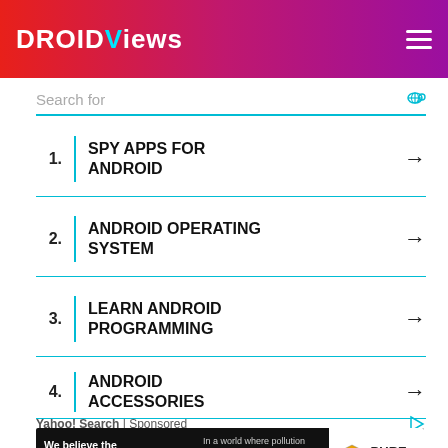DroidViews
Search for
1. SPY APPS FOR ANDROID
2. ANDROID OPERATING SYSTEM
3. LEARN ANDROID PROGRAMMING
4. ANDROID ACCESSORIES
Yahoo! Search | Sponsored
[Figure (infographic): Pure Earth advertisement banner: 'We believe the global pollution crisis can be solved. In a world where pollution doesn't stop at borders, we can all be part of the solution. JOIN US.' with Pure Earth logo.]